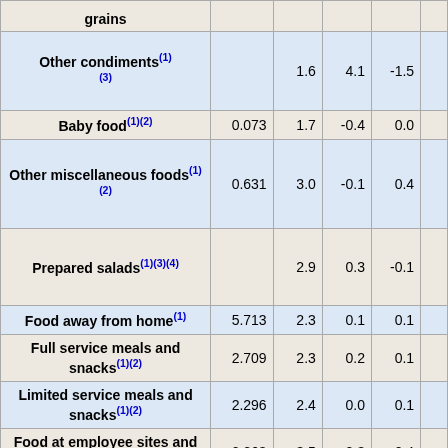| Item | Relative importance | Unadj. % chg. | 1-mo. % chg. | 3-mo. % chg. |  |
| --- | --- | --- | --- | --- | --- |
| grains |  |  |  |  |  |
| Other condiments(1)(3) |  | 1.6 | 4.1 | -1.5 |  |
| Baby food(1)(2) | 0.073 | 1.7 | -0.4 | 0.0 |  |
| Other miscellaneous foods(1)(2) | 0.631 | 3.0 | -0.1 | 0.4 |  |
| Prepared salads(1)(3)(4) |  | 2.9 | 0.3 | -0.1 |  |
| Food away from home(1) | 5.713 | 2.3 | 0.1 | 0.1 |  |
| Full service meals and snacks(1)(2) | 2.709 | 2.3 | 0.2 | 0.1 |  |
| Limited service meals and snacks(1)(2) | 2.296 | 2.4 | 0.0 | 0.1 |  |
| Food at employee sites and schools(2) | 0.263 | 3.5 | 0.3 | 0.4 |  |
| Food at elementary and secondary schools(1)(3)(5) |  | 3.5 | 0.1 | 0.1 |  |